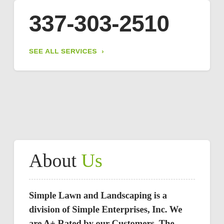337-303-2510
SEE ALL SERVICES >
About Us
Simple Lawn and Landscaping is a division of Simple Enterprises, Inc. We are A+ Rated by our Customers. The company was founded by President/CEO Nolton Dalcourt, Jr. and specializes in Lawn & Landscaping Services, Tree Services, and Bushhogging Services. Nolton is